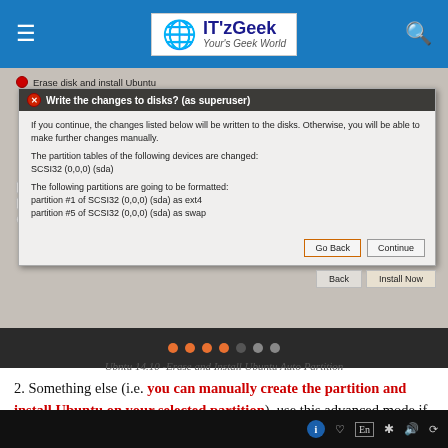IT'zGeek - Your's Geek World
[Figure (screenshot): Ubuntu 14.10 installer screenshot showing 'Write the changes to disks? (as superuser)' dialog box with partition information and Go Back/Continue buttons, with slideshow navigation dots at the bottom.]
Ubntu 14.10 -Erase and Install Ubuntu Auto Partition
2. Something else (i.e. you can manually create the partition and install Ubuntu on your selected partition), use this advanced mode if you are comfortable in manually partitioning your drives.  Click on continue.